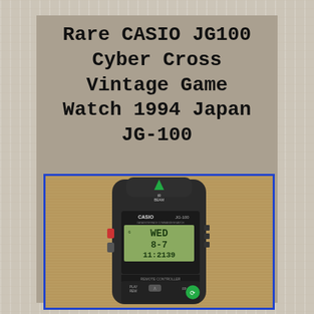Rare CASIO JG100 Cyber Cross Vintage Game Watch 1994 Japan JG-100
[Figure (photo): Photo of a Casio JG-100 Cyber Cross vintage game watch from 1994, shown face-up on a wooden surface. The watch has a dark grey/black body with a rectangular LCD screen displaying 'WED 8-7 11:2139'. Labels on the watch read 'CASIO JG-100', 'IR BEAM', 'DATA/INTERFACE COMMANDER/WATCH', 'REMOTE CONTROLLER', 'PLAY REW', and 'FP'. The watch has red and grey side buttons and green control buttons at the bottom.]